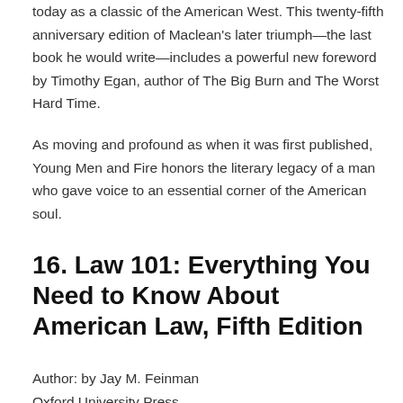today as a classic of the American West. This twenty-fifth anniversary edition of Maclean's later triumph—the last book he would write—includes a powerful new foreword by Timothy Egan, author of The Big Burn and The Worst Hard Time.
As moving and profound as when it was first published, Young Men and Fire honors the literary legacy of a man who gave voice to an essential corner of the American soul.
16. Law 101: Everything You Need to Know About American Law, Fifth Edition
Author: by Jay M. Feinman
Oxford University Press